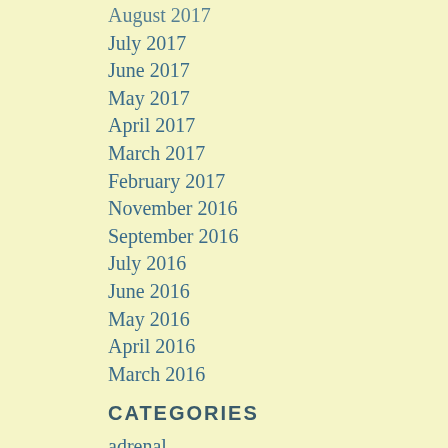August 2017
July 2017
June 2017
May 2017
April 2017
March 2017
February 2017
November 2016
September 2016
July 2016
June 2016
May 2016
April 2016
March 2016
CATEGORIES
adrenal
adrenal crisis
Alaska
Ari…